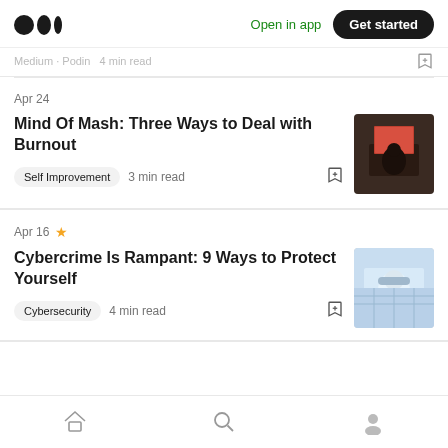Medium logo | Open in app | Get started
Apr 24
Mind Of Mash: Three Ways to Deal with Burnout
Self Improvement   3 min read
Apr 16
Cybercrime Is Rampant: 9 Ways to Protect Yourself
Cybersecurity   4 min read
Home | Search | Profile